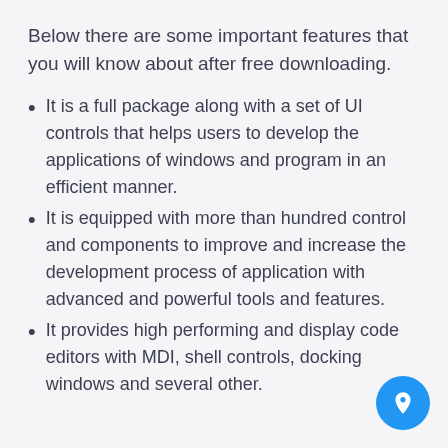Below there are some important features that you will know about after free downloading.
It is a full package along with a set of UI controls that helps users to develop the applications of windows and program in an efficient manner.
It is equipped with more than hundred control and components to improve and increase the development process of application with advanced and powerful tools and features.
It provides high performing and display code editors with MDI, shell controls, docking windows and several other.